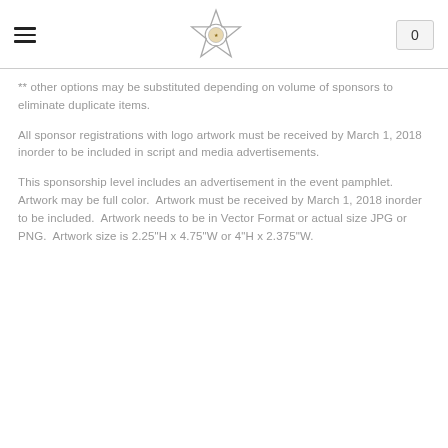[hamburger menu] [badge logo] [cart: 0]
** other options may be substituted depending on volume of sponsors to eliminate duplicate items.
All sponsor registrations with logo artwork must be received by March 1, 2018 inorder to be included in script and media advertisements.
This sponsorship level includes an advertisement in the event pamphlet.  Artwork may be full color.  Artwork must be received by March 1, 2018 inorder to be included.  Artwork needs to be in Vector Format or actual size JPG or PNG.  Artwork size is 2.25"H x 4.75"W or 4"H x 2.375"W.